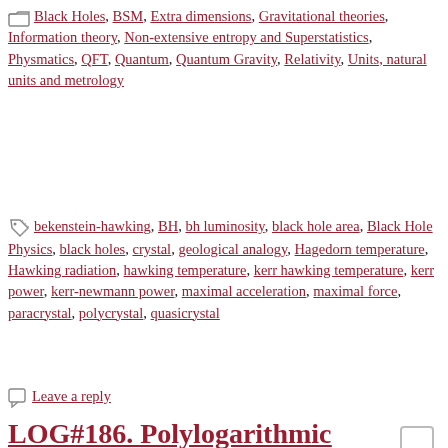Black Holes, BSM, Extra dimensions, Gravitational theories, Information theory, Non-extensive entropy and Superstatistics, Physmatics, QFT, Quantum, Quantum Gravity, Relativity, Units, natural units and metrology
bekenstein-hawking, BH, bh luminosity, black hole area, Black Hole Physics, black holes, crystal, geological analogy, Hagedorn temperature, Hawking radiation, hawking temperature, kerr hawking temperature, kerr power, kerr-newmann power, maximal acceleration, maximal force, paracrystal, polycrystal, quasicrystal
Leave a reply
LOG#186. Polylogarithmic condensates.
2017/07/15   amarashiki